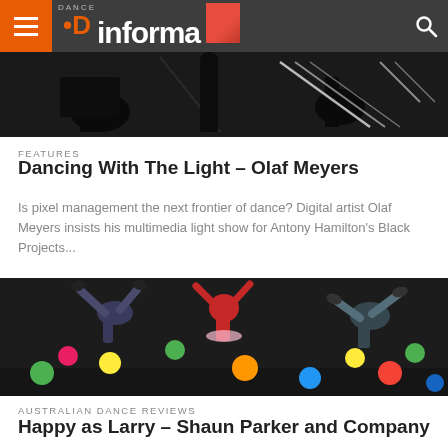Dance Informa
[Figure (photo): Dark dance performance photo with geometric light patterns in black and white]
FEATURES
Dancing With The Light – Olaf Meyers
Is pixel management the next frontier of dance? Digital artist Olaf Meyers insists his multimedia light show for Antony Hamilton's Black Projects...
[Figure (photo): Dancers performing with colorful balloons against a dark background, figures appear upside down or at angles]
AUSTRALIAN DANCE REVIEWS
Happy as Larry - Shaun Parker and Company